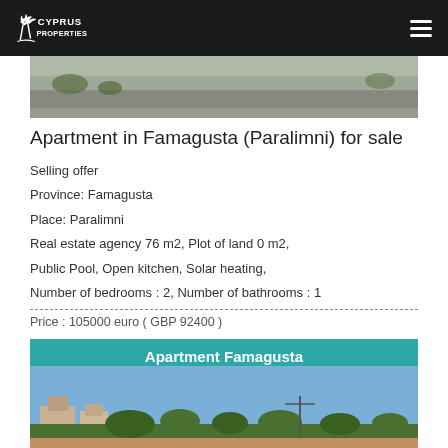Cyprus Properties
[Figure (photo): Aerial/street view photo of a road or parking area, showing tarmac and some greenery]
Apartment in Famagusta (Paralimni) for sale
Selling offer
Province: Famagusta
Place: Paralimni
Real estate agency 76 m2, Plot of land 0 m2,
Public Pool, Open kitchen, Solar heating,
Number of bedrooms : 2, Number of bathrooms : 1
Price : 105000 euro ( GBP 92400 )
Apartment Famagusta
[Figure (photo): Street-level photo of Famagusta area showing buildings, trees and blue sky]